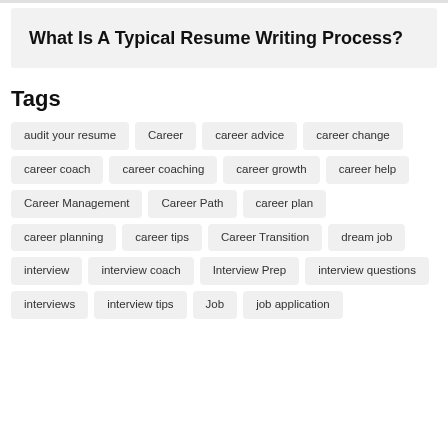What Is A Typical Resume Writing Process?
Tags
audit your resume
Career
career advice
career change
career coach
career coaching
career growth
career help
Career Management
Career Path
career plan
career planning
career tips
Career Transition
dream job
interview
interview coach
Interview Prep
interview questions
interviews
interview tips
Job
job application